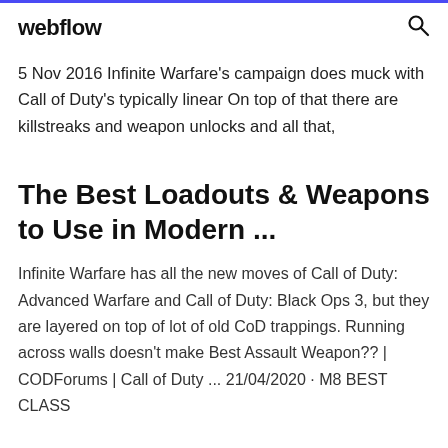webflow
5 Nov 2016 Infinite Warfare's campaign does muck with Call of Duty's typically linear On top of that there are killstreaks and weapon unlocks and all that,
The Best Loadouts & Weapons to Use in Modern ...
Infinite Warfare has all the new moves of Call of Duty: Advanced Warfare and Call of Duty: Black Ops 3, but they are layered on top of lot of old CoD trappings. Running across walls doesn't make Best Assault Weapon?? | CODForums | Call of Duty ... 21/04/2020 · M8 BEST CLASS